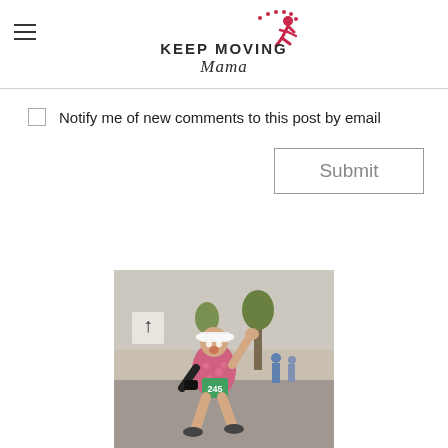[Figure (logo): Keep Moving Mama logo with running figure and stars]
Notify me of new comments to this post by email
Submit
[Figure (photo): A woman runner wearing bib number 245, pink top, white visor, raising fist at a race finish]